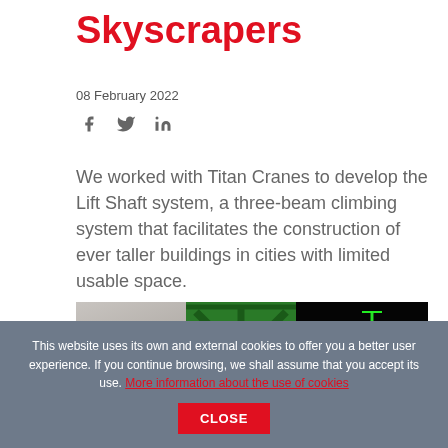Skyscrapers
08 February 2022
[Figure (other): Social media icons: Facebook, Twitter, LinkedIn]
We worked with Titan Cranes to develop the Lift Shaft system, a three-beam climbing system that facilitates the construction of ever taller buildings in cities with limited usable space.
[Figure (photo): Three-panel photo strip showing the Lift Shaft system: left panel shows concrete surface, middle panel shows green metal truss/climbing frame structure, right panel shows dark background with green lit crane structure at night.]
This website uses its own and external cookies to offer you a better user experience. If you continue browsing, we shall assume that you accept its use. More information about the use of cookies  CLOSE